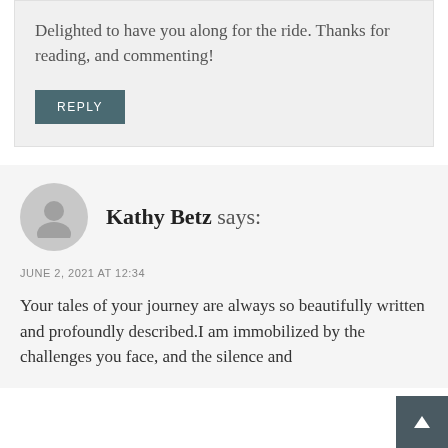Delighted to have you along for the ride. Thanks for reading, and commenting!
REPLY
Kathy Betz says:
JUNE 2, 2021 AT 12:34
Your tales of your journey are always so beautifully written and profoundly described.I am immobilized by the challenges you face, and the silence and